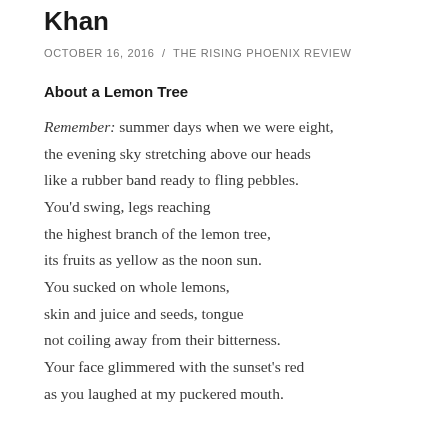Khan
OCTOBER 16, 2016 / THE RISING PHOENIX REVIEW
About a Lemon Tree
Remember: summer days when we were eight,
the evening sky stretching above our heads
like a rubber band ready to fling pebbles.
You'd swing, legs reaching
the highest branch of the lemon tree,
its fruits as yellow as the noon sun.
You sucked on whole lemons,
skin and juice and seeds, tongue
not coiling away from their bitterness.
Your face glimmered with the sunset's red
as you laughed at my puckered mouth.